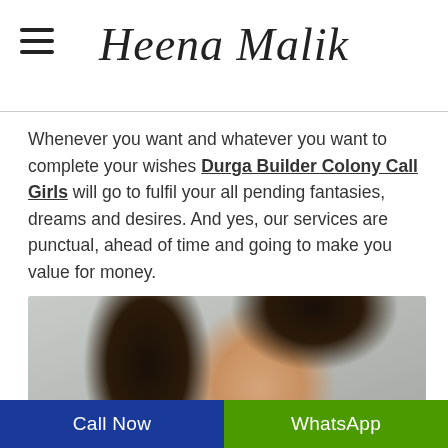Heena Malik
Whenever you want and whatever you want to complete your wishes Durga Builder Colony Call Girls will go to fulfil your all pending fantasies, dreams and desires. And yes, our services are punctual, ahead of time and going to make you value for money.
[Figure (photo): Portrait photo of a young woman with dark hair, partially obscuring her face, against a light wall background.]
Call Now | WhatsApp